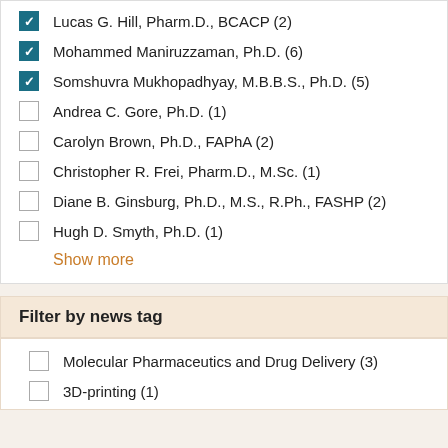Lucas G. Hill, Pharm.D., BCACP (2) [checked]
Mohammed Maniruzzaman, Ph.D. (6) [checked]
Somshuvra Mukhopadhyay, M.B.B.S., Ph.D. (5) [checked]
Andrea C. Gore, Ph.D. (1)
Carolyn Brown, Ph.D., FAPhA (2)
Christopher R. Frei, Pharm.D., M.Sc. (1)
Diane B. Ginsburg, Ph.D., M.S., R.Ph., FASHP (2)
Hugh D. Smyth, Ph.D. (1)
Show more
Filter by news tag
Molecular Pharmaceutics and Drug Delivery (3)
3D-printing (1)